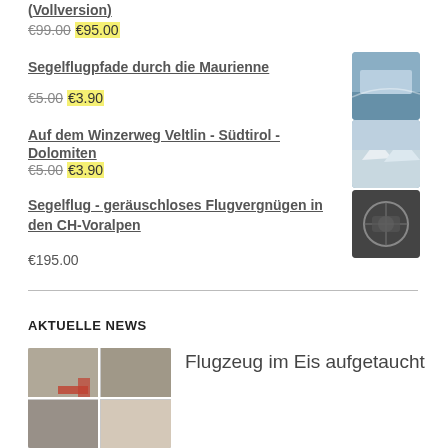(Vollversion)
€99.00 €95.00
Segelflugpfade durch die Maurienne
€5.00 €3.90
[Figure (photo): Aerial gliding photo thumbnail - mountains and sky]
Auf dem Winzerweg Veltlin - Südtirol - Dolomiten
€5.00 €3.90
[Figure (photo): Aerial mountain landscape photo thumbnail]
Segelflug - geräuschloses Flugvergnügen in den CH-Voralpen
€195.00
[Figure (photo): Cockpit interior photo thumbnail]
AKTUELLE NEWS
[Figure (photo): Collage of airplane parts in ice/snow]
Flugzeug im Eis aufgetaucht